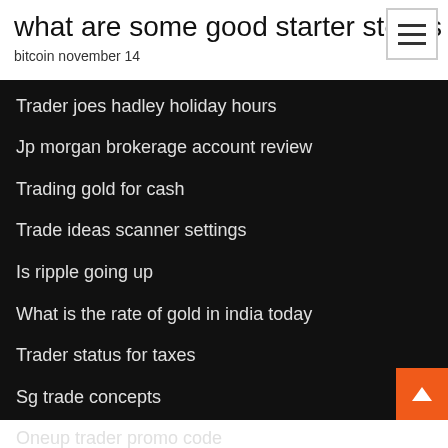what are some good starter stocks
bitcoin november 14
Trader joes hadley holiday hours
Jp morgan brokerage account review
Trading gold for cash
Trade ideas scanner settings
Is ripple going up
What is the rate of gold in india today
Trader status for taxes
Sg trade concepts
Oneup trader promo code
Netherlands money to inr